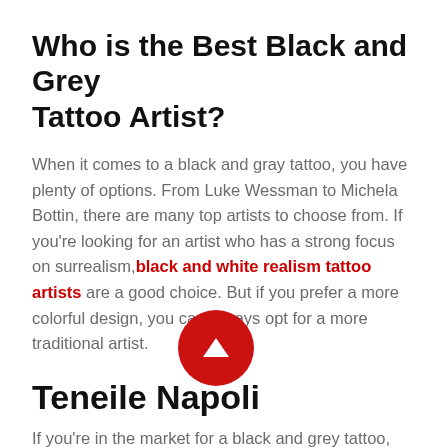Who is the Best Black and Grey Tattoo Artist?
When it comes to a black and gray tattoo, you have plenty of options. From Luke Wessman to Michela Bottin, there are many top artists to choose from. If you're looking for an artist who has a strong focus on surrealism, black and white realism tattoo artists are a good choice. But if you prefer a more colorful design, you can always opt for a more traditional artist.
Teneile Napoli
If you're in the market for a black and grey tattoo, you should definitely visit the work of Teneile Napoli. She has been acclaimed as one of Australia's most successful mumpreneurs, with over 1 million followers